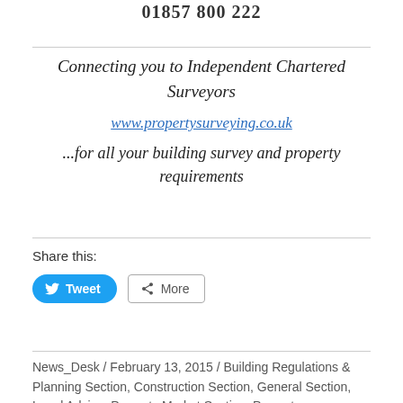01857 800 222
Connecting you to Independent Chartered Surveyors
www.propertysurveying.co.uk
...for all your building survey and property requirements
Share this:
[Figure (other): Tweet and More share buttons]
News_Desk / February 13, 2015 / Building Regulations & Planning Section, Construction Section, General Section, Legal Advice, Property Market Section, Property